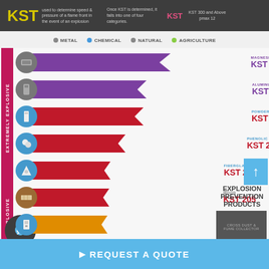[Figure (infographic): KST (Kst value) infographic header bar showing KST is used to determine speed & pressure of a flame front in the event of an explosion. Once KST is determined, it falls into one of four categories. KST 300 and Above pmax 12.]
METAL  CHEMICAL  NATURAL  AGRICULTURE
[Figure (bar-chart): Horizontal bar chart showing KST values for various materials, grouped by EXTREMELY EXPLOSIVE (top 5) and EXPLOSIVE (bottom 2). Each bar has a category icon and material name.]
EXPLOSION PREVENTION PRODUCTS
REQUEST A QUOTE